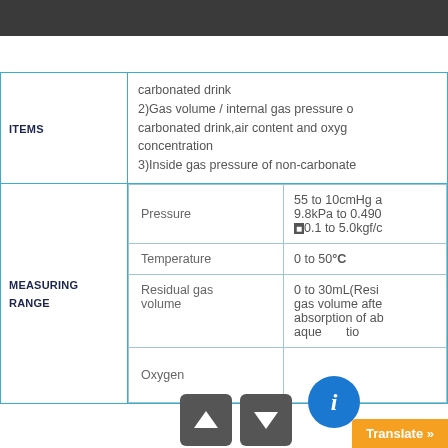| ITEMS | Content |
| --- | --- |
| ITEMS | carbonated drink
2)Gas volume / internal gas pressure of carbonated drink,air content and oxygen concentration
3)Inside gas pressure of non-carbonate... |
| MEASURING RANGE | Pressure: 55 to 10cmHg a... / 9.8kPa to 0.490... / 0.1 to 5.0kgf/c...
Temperature: 0 to 50°C
Residual gas volume: 0 to 30mL(Residual gas volume after absorption of ab... aqueous solution... |